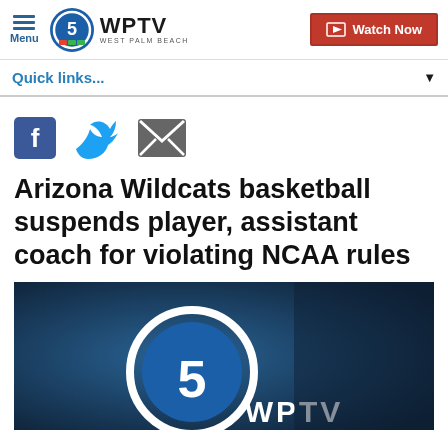Menu | WPTV WEST PALM BEACH | Watch Now
Quick links...
[Figure (other): Social media share icons: Facebook, Twitter, Email]
Arizona Wildcats basketball suspends player, assistant coach for violating NCAA rules
[Figure (photo): WPTV logo on dark blue background thumbnail]